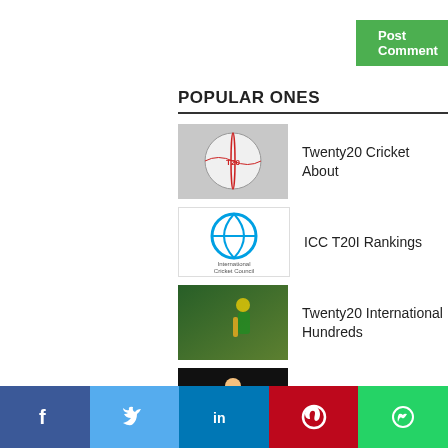[Figure (other): Post Comment button (green)]
POPULAR ONES
Twenty20 Cricket About
ICC T20I Rankings
Twenty20 International Hundreds
ICC World T20 centuries
India vs Pakistan 20-20 rivalry
[Figure (other): Social share bar with Facebook, Twitter, LinkedIn, Pinterest, WhatsApp buttons]